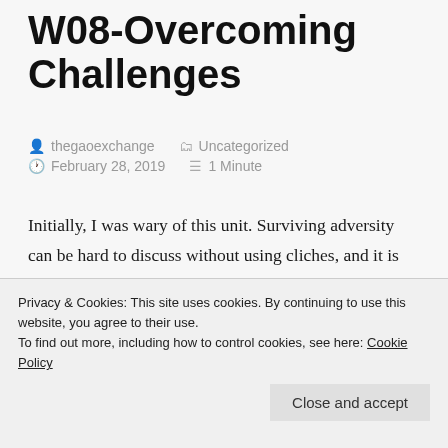W08-Overcoming Challenges
thegaoexchange   Uncategorized
February 28, 2019   1 Minute
Initially, I was wary of this unit. Surviving adversity can be hard to discuss without using cliches, and it is often overdone. So I was pleasantly surprised by how this week's reading was so enjoyable. I had actually been struggling personally with something, and a quote from
Privacy & Cookies: This site uses cookies. By continuing to use this website, you agree to their use.
To find out more, including how to control cookies, see here: Cookie Policy
Close and accept